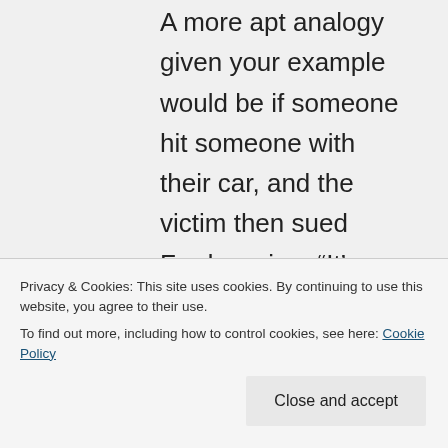A more apt analogy given your example would be if someone hit someone with their car, and the victim then sued Ford, saying, “It’s Ford’s product they are responsible.” The car itself is not dangerous if used as directed (for example, not running into people). The fault lies with the person
Privacy & Cookies: This site uses cookies. By continuing to use this website, you agree to their use.
To find out more, including how to control cookies, see here: Cookie Policy
safe if used as directed, but